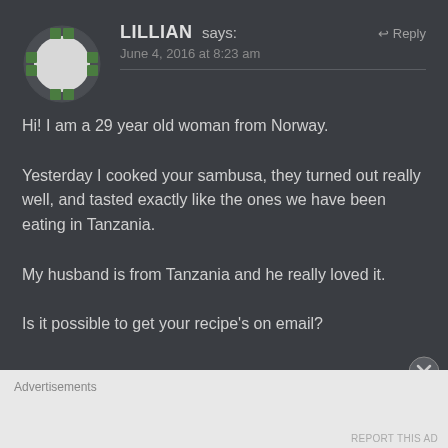[Figure (illustration): Circular avatar with green dashed border pattern on dark background]
LILLIAN says:
Reply
June 4, 2016 at 8:23 am
Hi! I am a 29 year old woman from Norway.
Yesterday I cooked your sambusa, they turned out really well, and tasted exactly like the ones we have been eating in Tanzania.
My husband is from Tanzania and he really loved it.
Is it possible to get your recipe's on email?
Advertisements